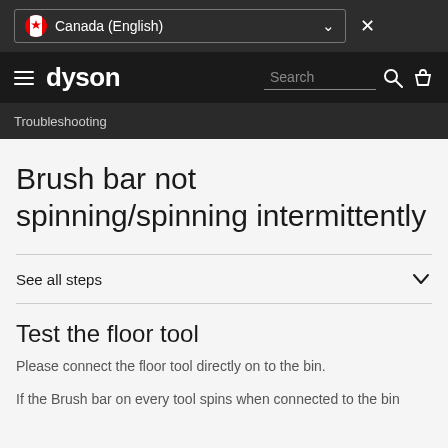Canada (English)
dyson | Search
Troubleshooting
Brush bar not spinning/spinning intermittently
See all steps
Test the floor tool
Please connect the floor tool directly on to the bin.
If the Brush bar on every tool spins when connected to the bin